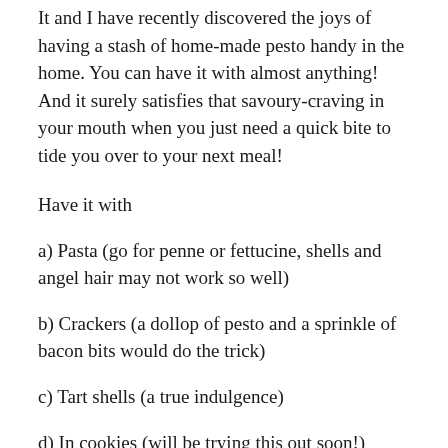It and I have recently discovered the joys of having a stash of home-made pesto handy in the home. You can have it with almost anything! And it surely satisfies that savoury-craving in your mouth when you just need a quick bite to tide you over to your next meal!
Have it with
a) Pasta (go for penne or fettucine, shells and angel hair may not work so well)
b) Crackers (a dollop of pesto and a sprinkle of bacon bits would do the trick)
c) Tart shells (a true indulgence)
d) In cookies (will be trying this out soon!)
e) Sandwiches (as a spread with ham/ Cold Storage's